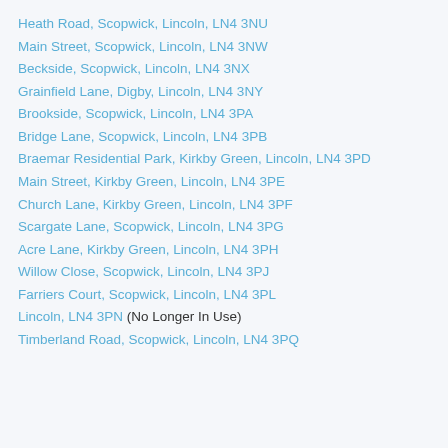Heath Road, Scopwick, Lincoln, LN4 3NU
Main Street, Scopwick, Lincoln, LN4 3NW
Beckside, Scopwick, Lincoln, LN4 3NX
Grainfield Lane, Digby, Lincoln, LN4 3NY
Brookside, Scopwick, Lincoln, LN4 3PA
Bridge Lane, Scopwick, Lincoln, LN4 3PB
Braemar Residential Park, Kirkby Green, Lincoln, LN4 3PD
Main Street, Kirkby Green, Lincoln, LN4 3PE
Church Lane, Kirkby Green, Lincoln, LN4 3PF
Scargate Lane, Scopwick, Lincoln, LN4 3PG
Acre Lane, Kirkby Green, Lincoln, LN4 3PH
Willow Close, Scopwick, Lincoln, LN4 3PJ
Farriers Court, Scopwick, Lincoln, LN4 3PL
Lincoln, LN4 3PN (No Longer In Use)
Timberland Road, Scopwick, Lincoln, LN4 3PQ